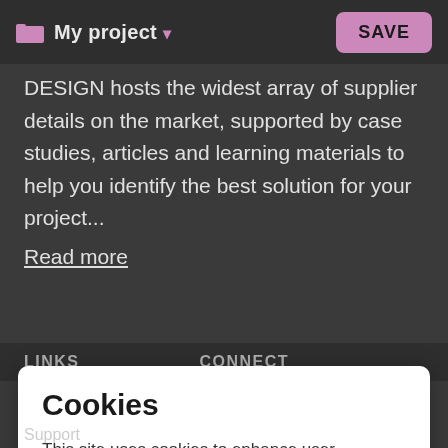My project ▾   SAVE
DESIGN hosts the widest array of supplier details on the market, supported by case studies, articles and learning materials to help you identify the best solution for your project...
Read more
LINKS   CONNECT
Cookies
This site uses cookies to enhance user experience.
Accept   More info
Support